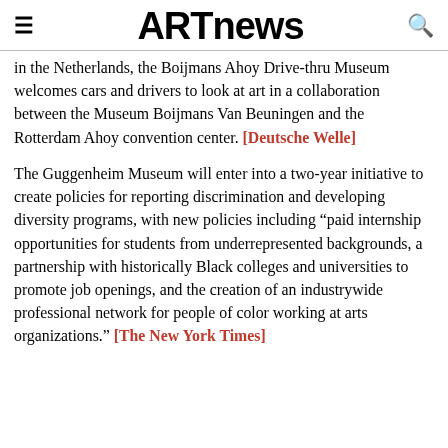ARTnews
in the Netherlands, the Boijmans Ahoy Drive-thru Museum welcomes cars and drivers to look at art in a collaboration between the Museum Boijmans Van Beuningen and the Rotterdam Ahoy convention center. [Deutsche Welle]
The Guggenheim Museum will enter into a two-year initiative to create policies for reporting discrimination and developing diversity programs, with new policies including “paid internship opportunities for students from underrepresented backgrounds, a partnership with historically Black colleges and universities to promote job openings, and the creation of an industrywide professional network for people of color working at arts organizations.” [The New York Times]